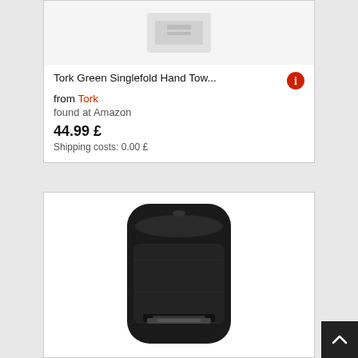[Figure (photo): Partial product image at top, cropped]
Tork Green Singlefold Hand Tow...
from Tork
found at Amazon
44.99 £
Shipping costs: 0.00 £
[Figure (photo): Black paper towel dispenser product image]